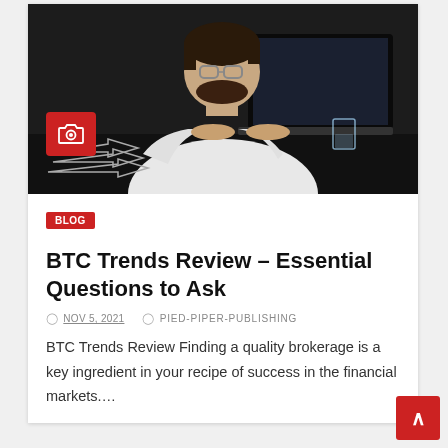[Figure (photo): A bearded man with glasses wearing a white shirt, working on a laptop at a dark desk. A camera badge icon overlay is shown in the lower left of the image.]
BLOG
BTC Trends Review – Essential Questions to Ask
NOV 5, 2021   PIED-PIPER-PUBLISHING
BTC Trends Review Finding a quality brokerage is a key ingredient in your recipe of success in the financial markets....